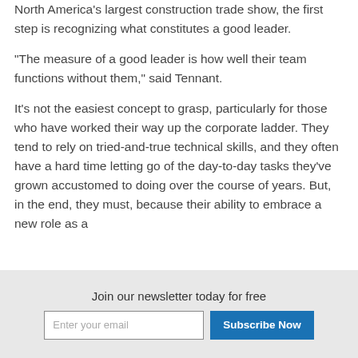North America's largest construction trade show, the first step is recognizing what constitutes a good leader.
"The measure of a good leader is how well their team functions without them," said Tennant.
It's not the easiest concept to grasp, particularly for those who have worked their way up the corporate ladder. They tend to rely on tried-and-true technical skills, and they often have a hard time letting go of the day-to-day tasks they've grown accustomed to doing over the course of years. But, in the end, they must, because their ability to embrace a new role as a
Join our newsletter today for free
Enter your email
Subscribe Now